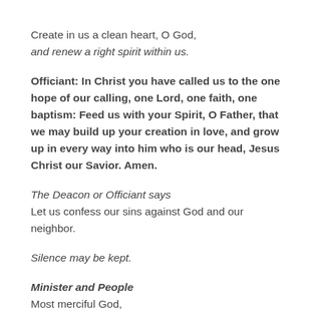Create in us a clean heart, O God,
and renew a right spirit within us.
Officiant: In Christ you have called us to the one hope of our calling, one Lord, one faith, one baptism: Feed us with your Spirit, O Father, that we may build up your creation in love, and grow up in every way into him who is our head, Jesus Christ our Savior. Amen.
The Deacon or Officiant says
Let us confess our sins against God and our neighbor.
Silence may be kept.
Minister and People
Most merciful God,
we confess that we have sinned against you
in thought, word, and deed,